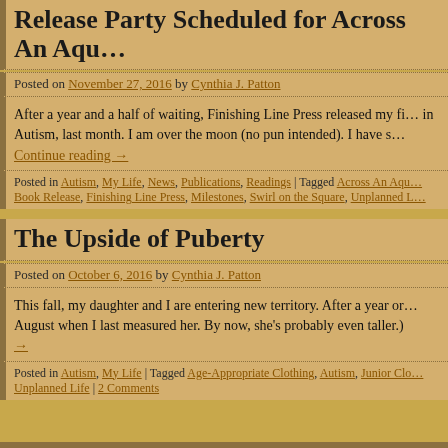Release Party Scheduled for Across An Aqu…
Posted on November 27, 2016 by Cynthia J. Patton
After a year and a half of waiting, Finishing Line Press released my fi… in Autism, last month. I am over the moon (no pun intended). I have s…
Continue reading →
Posted in Autism, My Life, News, Publications, Readings | Tagged Across An Aqu… Book Release, Finishing Line Press, Milestones, Swirl on the Square, Unplanned L…
The Upside of Puberty
Posted on October 6, 2016 by Cynthia J. Patton
This fall, my daughter and I are entering new territory. After a year or… August when I last measured her. By now, she's probably even taller.) →
Posted in Autism, My Life | Tagged Age-Appropriate Clothing, Autism, Junior Clo… Unplanned Life | 2 Comments